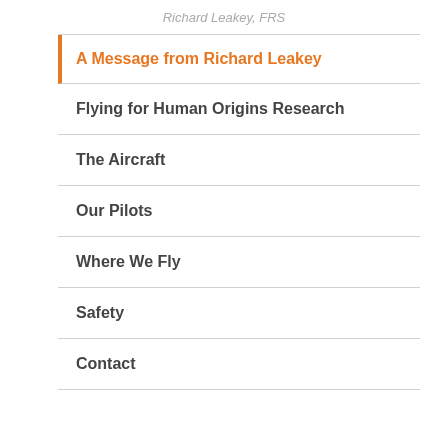Richard Leakey, FRS
A Message from Richard Leakey
Flying for Human Origins Research
The Aircraft
Our Pilots
Where We Fly
Safety
Contact